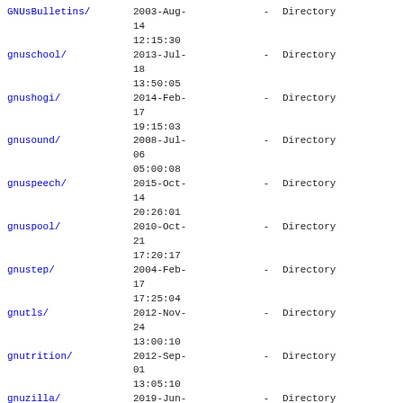| Name | Date |  | Type |
| --- | --- | --- | --- |
| GNUsBulletins/ | 2003-Aug-14 12:15:30 | - | Directory |
| gnuschool/ | 2013-Jul-18 13:50:05 | - | Directory |
| gnushogi/ | 2014-Feb-17 19:15:03 | - | Directory |
| gnusound/ | 2008-Jul-06 05:00:08 | - | Directory |
| gnuspeech/ | 2015-Oct-14 20:26:01 | - | Directory |
| gnuspool/ | 2010-Oct-21 17:20:17 | - | Directory |
| gnustep/ | 2004-Feb-17 17:25:04 | - | Directory |
| gnutls/ | 2012-Nov-24 13:00:10 | - | Directory |
| gnutrition/ | 2012-Sep-01 13:05:10 | - | Directory |
| gnuzilla/ | 2019-Jun-02 16:50:20 | - | Directory |
| goptical/ | 2012-Jan-07 | - | Directory |